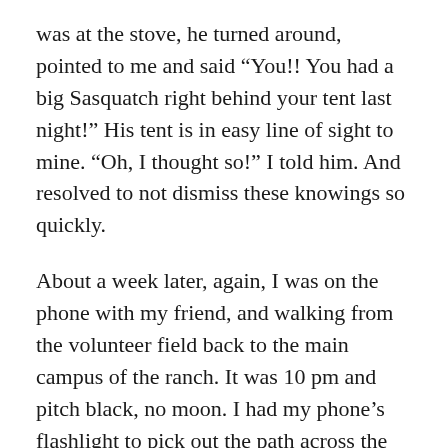was at the stove, he turned around, pointed to me and said “You!! You had a big Sasquatch right behind your tent last night!” His tent is in easy line of sight to mine. “Oh, I thought so!” I told him. And resolved to not dismiss these knowings so quickly.
About a week later, again, I was on the phone with my friend, and walking from the volunteer field back to the main campus of the ranch. It was 10 pm and pitch black, no moon. I had my phone’s flashlight to pick out the path across the field. I was just getting to where the little wooden bridge cross over the brook through the trees. On my left was a little clearing, and 3 wooden platforms had just been erected there, 10’x10’, just a few days prior. I couldn’t see anything, of course, but I knew they were there. Suddenly, I hear this very loud smacking sound, as if someone with very large feet was jumping and dancing on